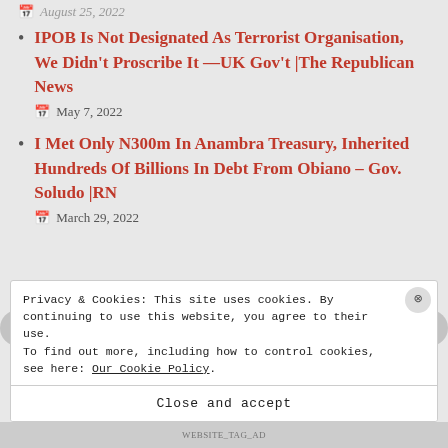August 25, 2022
IPOB Is Not Designated As Terrorist Organisation, We Didn't Proscribe It —UK Gov't |The Republican News
May 7, 2022
I Met Only N300m In Anambra Treasury, Inherited Hundreds Of Billions In Debt From Obiano – Gov. Soludo |RN
March 29, 2022
Privacy & Cookies: This site uses cookies. By continuing to use this website, you agree to their use.
To find out more, including how to control cookies, see here: Our Cookie Policy.
Close and accept